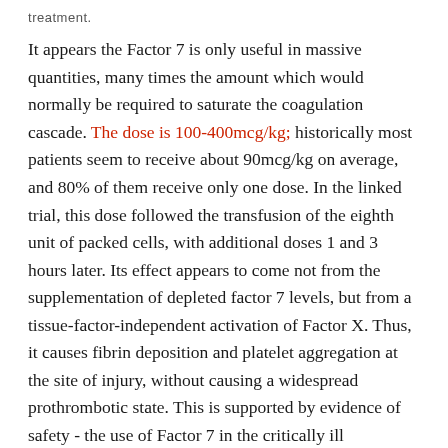treatment.
It appears the Factor 7 is only useful in massive quantities, many times the amount which would normally be required to saturate the coagulation cascade. The dose is 100-400mcg/kg; historically most patients seem to receive about 90mcg/kg on average, and 80% of them receive only one dose. In the linked trial, this dose followed the transfusion of the eighth unit of packed cells, with additional doses 1 and 3 hours later. Its effect appears to come not from the supplementation of depleted factor 7 levels, but from a tissue-factor-independent activation of Factor X. Thus, it causes fibrin deposition and platelet aggregation at the site of injury, without causing a widespread prothrombotic state. This is supported by evidence of safety - the use of Factor 7 in the critically ill population does not seem to be associated with an increase in adverse thrombotic events.